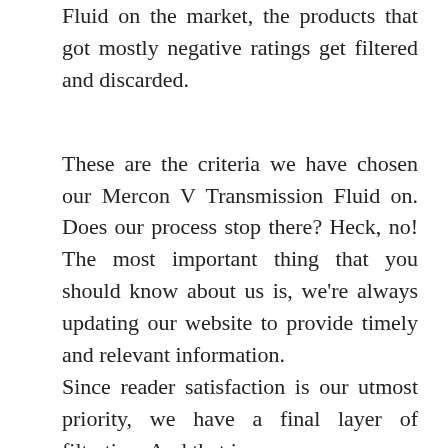Fluid on the market, the products that got mostly negative ratings get filtered and discarded.
These are the criteria we have chosen our Mercon V Transmission Fluid on. Does our process stop there? Heck, no! The most important thing that you should know about us is, we're always updating our website to provide timely and relevant information.
Since reader satisfaction is our utmost priority, we have a final layer of filtration. And that is